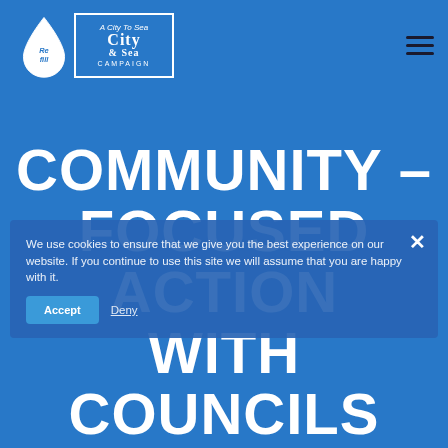[Figure (logo): Refill and City to Sea Campaign logos in white on blue header background]
COMMUNITY – FOCUSED ACTION WITH COUNCILS AND
We use cookies to ensure that we give you the best experience on our website. If you continue to use this site we will assume that you are happy with it.
Accept | Deny